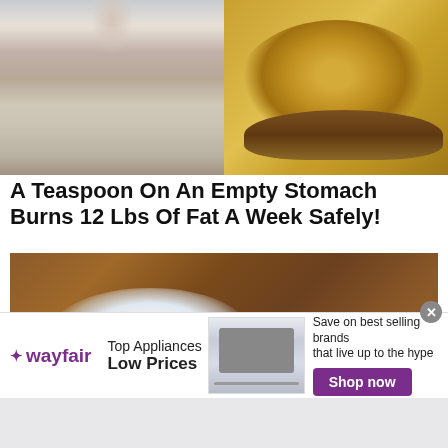[Figure (photo): Two photos side by side: left shows a fit woman in shorts and crop top; right shows a pile of yellow-brown powder on a wooden spoon]
A Teaspoon On An Empty Stomach Burns 12 Lbs Of Fat A Week Safely!
[Figure (photo): Close-up photo of a clear measuring scoop filled with white powder on a wooden surface]
[Figure (other): Wayfair advertisement banner: Top Appliances Low Prices, Save on best selling brands that live up to the hype, Shop now button]